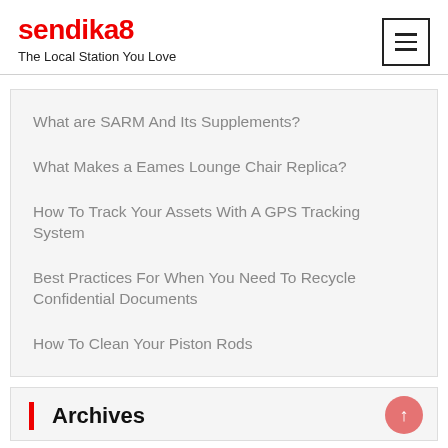sendika8
The Local Station You Love
What are SARM And Its Supplements?
What Makes a Eames Lounge Chair Replica?
How To Track Your Assets With A GPS Tracking System
Best Practices For When You Need To Recycle Confidential Documents
How To Clean Your Piston Rods
Archives